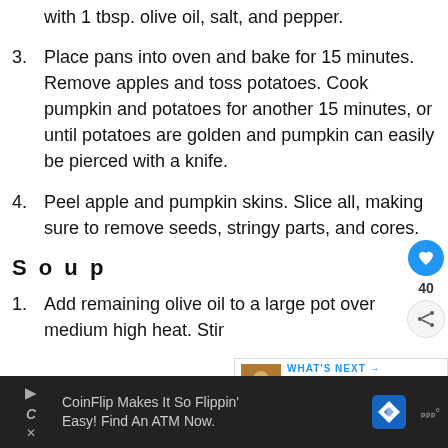with 1 tbsp. olive oil, salt, and pepper.
3. Place pans into oven and bake for 15 minutes. Remove apples and toss potatoes. Cook pumpkin and potatoes for another 15 minutes, or until potatoes are golden and pumpkin can easily be pierced with a knife.
4. Peel apple and pumpkin skins. Slice all, making sure to remove seeds, stringy parts, and cores.
Soup
1. Add remaining olive oil to a large pot over medium high heat. Stir
[Figure (screenshot): Advertisement bar: CoinFlip Makes It So Flippin' Easy! Find An ATM Now. with play, C, x icons and a blue diamond direction sign.]